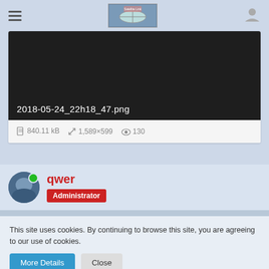Navigation header with hamburger menu, logo, and user icon
[Figure (screenshot): Dark image preview area showing filename 2018-05-24_22h18_47.png with file metadata: 840.11 kB, 1,589×599, 130 views]
2018-05-24_22h18_47.png
840.11 kB  1,589×599  130
qwer
Administrator
This site uses cookies. By continuing to browse this site, you are agreeing to our use of cookies.
More Details   Close